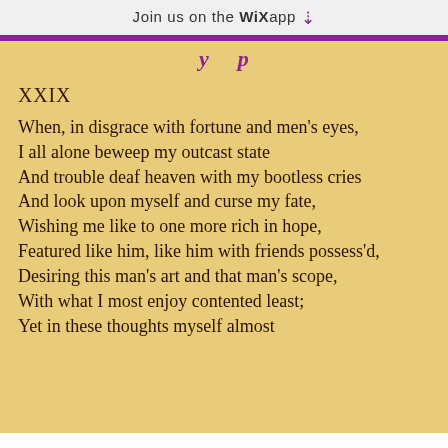Join us on the WiX app ↓
XXIX
When, in disgrace with fortune and men's eyes,
I all alone beweep my outcast state
And trouble deaf heaven with my bootless cries
And look upon myself and curse my fate,
Wishing me like to one more rich in hope,
Featured like him, like him with friends possess'd,
Desiring this man's art and that man's scope,
With what I most enjoy contented least;
Yet in these thoughts myself almost